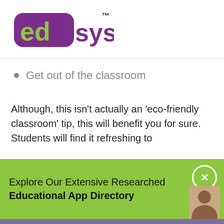[Figure (logo): edsys logo with TM mark — 'ed' in lime green on purple rounded rectangle, 'sys' in purple text, TM superscript]
Get out of the classroom
Although, this isn't actually an 'eco-friendly classroom' tip, this will benefit you for sure. Students will find it refreshing to
Explore Our Extensive Researched Educational App Directory
This website uses cookies to ensure you get the best experience on our website.
Accept Cookies
Decline